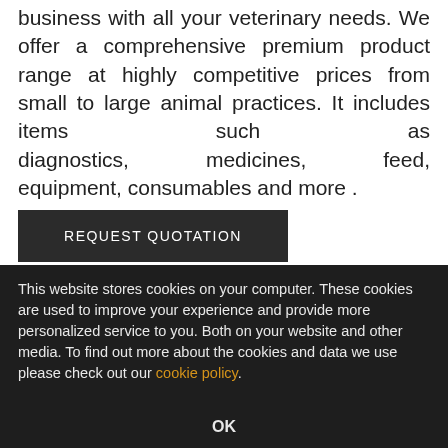business with all your veterinary needs. We offer a comprehensive premium product range at highly competitive prices from small to large animal practices. It includes items such as diagnostics, medicines, feed, equipment, consumables and more .
REQUEST QUOTATION
This website stores cookies on your computer. These cookies are used to improve your experience and provide more personalized service to you. Both on your website and other media. To find out more about the cookies and data we use please check out our cookie policy.
OK